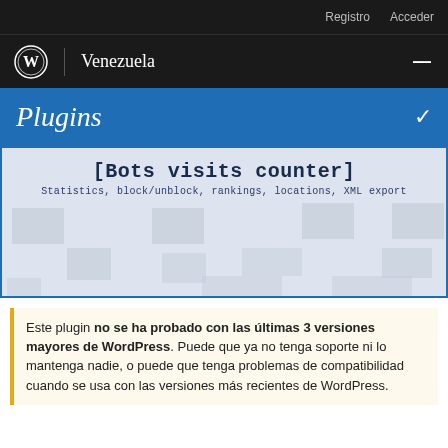Registro   Acceder
WordPress | Venezuela
Plugins
[Figure (screenshot): Plugin banner for [Bots visits counter] with subtitle: Statistics, block/unblock, rankings, locations, XML export. Light blue-grey background with decorative grey squares.]
Este plugin no se ha probado con las últimas 3 versiones mayores de WordPress. Puede que ya no tenga soporte ni lo mantenga nadie, o puede que tenga problemas de compatibilidad cuando se usa con las versiones más recientes de WordPress.